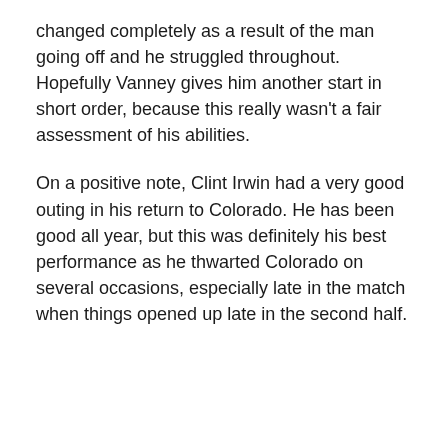changed completely as a result of the man going off and he struggled throughout. Hopefully Vanney gives him another start in short order, because this really wasn't a fair assessment of his abilities.
On a positive note, Clint Irwin had a very good outing in his return to Colorado. He has been good all year, but this was definitely his best performance as he thwarted Colorado on several occasions, especially late in the match when things opened up late in the second half.